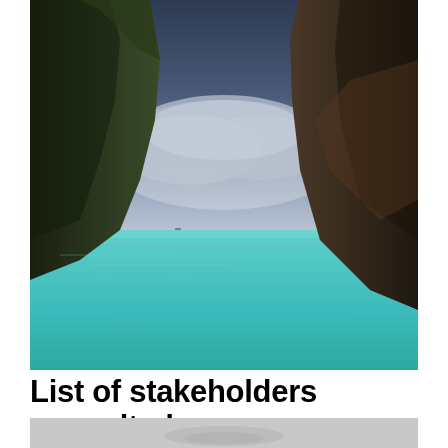[Figure (photo): Coastal landscape photograph showing two large rocky cliffs on either side framing a calm turquoise/teal ocean bay with a dramatic cloudy sky in the background]
List of stakeholders consulted during the policy dialogue The
[Figure (photo): Partial bottom photo, showing a light grey/white surface, partially cut off]